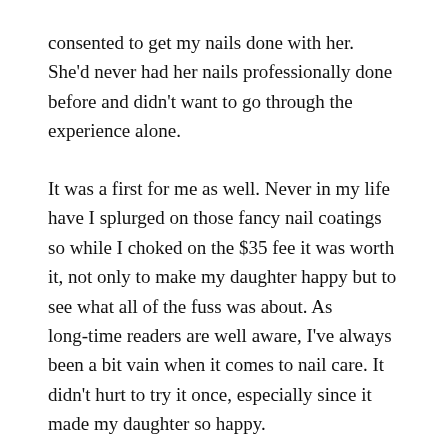consented to get my nails done with her. She'd never had her nails professionally done before and didn't want to go through the experience alone.
It was a first for me as well. Never in my life have I splurged on those fancy nail coatings so while I choked on the $35 fee it was worth it, not only to make my daughter happy but to see what all of the fuss was about. As long-time readers are well aware, I've always been a bit vain when it comes to nail care. It didn't hurt to try it once, especially since it made my daughter so happy.